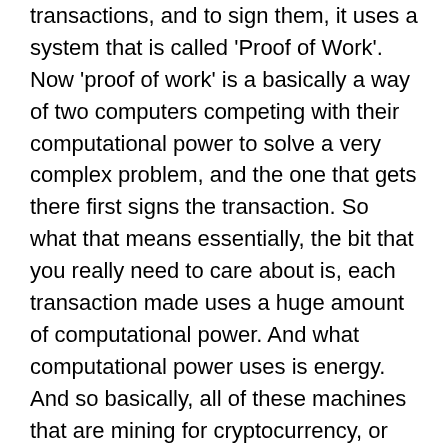transactions, and to sign them, it uses a system that is called 'Proof of Work'. Now 'proof of work' is a basically a way of two computers competing with their computational power to solve a very complex problem, and the one that gets there first signs the transaction. So what that means essentially, the bit that you really need to care about is, each transaction made uses a huge amount of computational power. And what computational power uses is energy. And so basically, all of these machines that are mining for cryptocurrency, or that are signing these transactions are using significant amounts of energy. And you cannot get away from the significant amount of energy use in the blockchain. It is an integral part of it – it is part of the security of the system. And so that is why it's very dangerous for the climate, because there are these huge centres using all of this power. And now our data centres are already pretty bad and already using huge